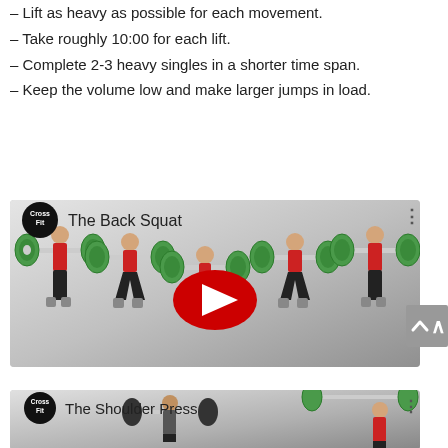– Lift as heavy as possible for each movement.
– Take roughly 10:00 for each lift.
– Complete 2-3 heavy singles in a shorter time span.
– Keep the volume low and make larger jumps in load.
[Figure (screenshot): YouTube video thumbnail for CrossFit 'The Back Squat' showing athletes performing back squats with barbells, CrossFit logo badge top left, YouTube play button centered.]
[Figure (screenshot): YouTube video thumbnail for CrossFit 'The Shoulder Press' showing athletes performing shoulder press with barbells, CrossFit logo badge top left.]